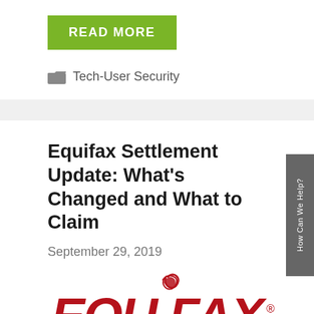READ MORE
Tech-User Security
Equifax Settlement Update: What’s Changed and What to Claim
September 29, 2019
[Figure (logo): Equifax logo in red with stylized letter Q]
How Can We Help?